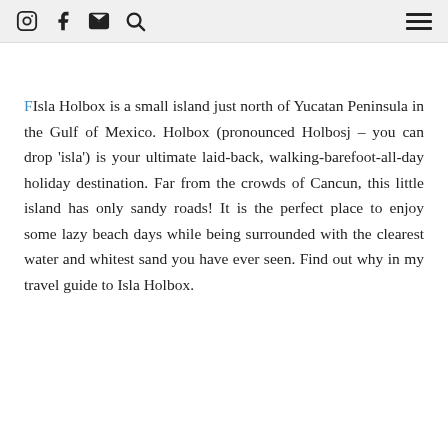[Instagram] [Facebook] [Email] [Search] [Menu]
FIsla Holbox is a small island just north of Yucatan Peninsula in the Gulf of Mexico. Holbox (pronounced Holbosj – you can drop 'isla') is your ultimate laid-back, walking-barefoot-all-day holiday destination. Far from the crowds of Cancun, this little island has only sandy roads! It is the perfect place to enjoy some lazy beach days while being surrounded with the clearest water and whitest sand you have ever seen. Find out why in my travel guide to Isla Holbox.